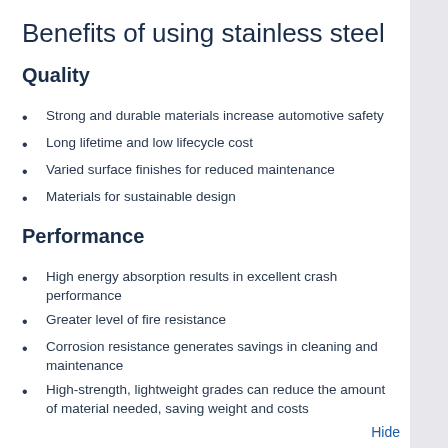Benefits of using stainless steel
Quality
Strong and durable materials increase automotive safety
Long lifetime and low lifecycle cost
Varied surface finishes for reduced maintenance
Materials for sustainable design
Performance
High energy absorption results in excellent crash performance
Greater level of fire resistance
Corrosion resistance generates savings in cleaning and maintenance
High-strength, lightweight grades can reduce the amount of material needed, saving weight and costs
Hide